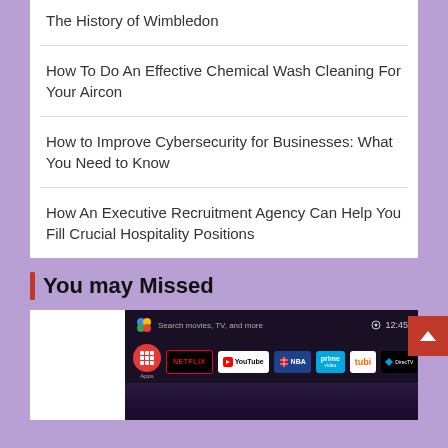The History of Wimbledon
How To Do An Effective Chemical Wash Cleaning For Your Aircon
How to Improve Cybersecurity for Businesses: What You Need to Know
How An Executive Recruitment Agency Can Help You Fill Crucial Hospitality Positions
You may Missed
[Figure (screenshot): Screenshot of an Android TV home screen showing Google Assistant search bar, time 12:45, and app icons including Apps, Netflix, YouTube, NBA, Prime Video, tubi, DirecTV, and Twitch]